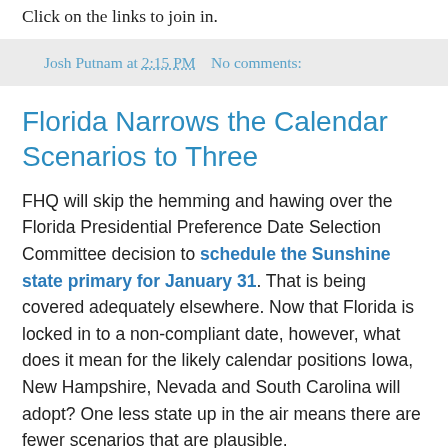Click on the links to join in.
Josh Putnam at 2:15 PM   No comments:
Florida Narrows the Calendar Scenarios to Three
FHQ will skip the hemming and hawing over the Florida Presidential Preference Date Selection Committee decision to schedule the Sunshine state primary for January 31. That is being covered adequately elsewhere. Now that Florida is locked in to a non-compliant date, however, what does it mean for the likely calendar positions Iowa, New Hampshire, Nevada and South Carolina will adopt? One less state up in the air means there are fewer scenarios that are plausible.
FHQ sees three most likely scenarios and they obviously depend on a couple of things.
1. If South Carolina Republican Party Chair Chad